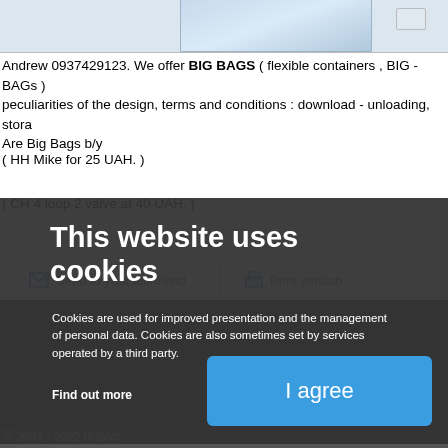[Figure (photo): Top portion of a product image showing big bags/flexible containers, partially visible at top of page]
Andrew 0937429123. We offer BIG BAGS ( flexible containers , BIG - BAGs ) peculiarities of the design, terms and conditions : download - unloading, stora Are Big Bags b/y
( HH Mike for 25 UAH. )
( CH 4 loop 2 valve at 40 UAH. )
Send to yourself/friend
Print version
This website uses cookies
Cookies are used for improved presentation and the management of personal data. Cookies are also sometimes set by services operated by a third party.
Find out more
I agree
© 2004 - 2022 Bizator